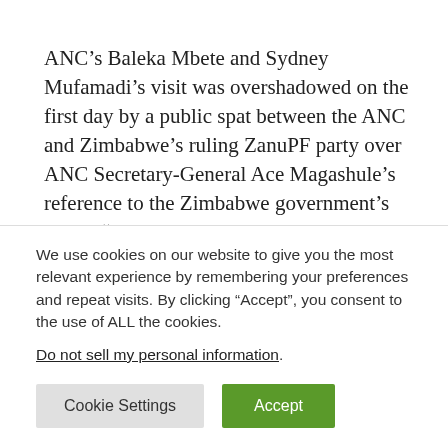ANC's Baleka Mbete and Sydney Mufamadi's visit was overshadowed on the first day by a public spat between the ANC and Zimbabwe's ruling ZanuPF party over ANC Secretary-General Ace Magashule's reference to the Zimbabwe government's recent "brutality".
Ramaphosa announced on Thursday that he had appointed former  cabinet minister Sydney Mufamadi and former speaker of parliament Baleka Mbete as his special envoys to "engage
We use cookies on our website to give you the most relevant experience by remembering your preferences and repeat visits. By clicking "Accept", you consent to the use of ALL the cookies.
Do not sell my personal information.